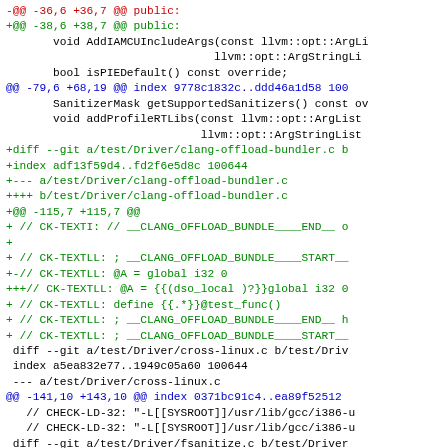[Figure (screenshot): A git diff output showing code changes in a monospace terminal/code viewer. Lines include red (removed), green (added), blue (hunk headers), and black (context) colored text showing changes to C source files including clang-offload-bundler.c, cross-linux.c, and fsanitize.c.]